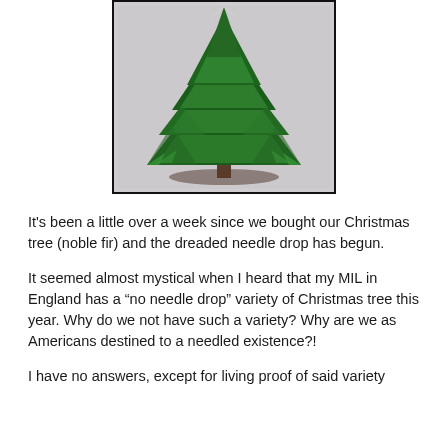[Figure (photo): A photo of a green Christmas tree (noble fir) with dense branches, displayed against a light gray/white background, framed with a black border.]
It's been a little over a week since we bought our Christmas tree (noble fir) and the dreaded needle drop has begun.
It seemed almost mystical when I heard that my MIL in England has a “no needle drop” variety of Christmas tree this year. Why do we not have such a variety? Why are we as Americans destined to a needled existence?!
I have no answers, except for living proof of said variety